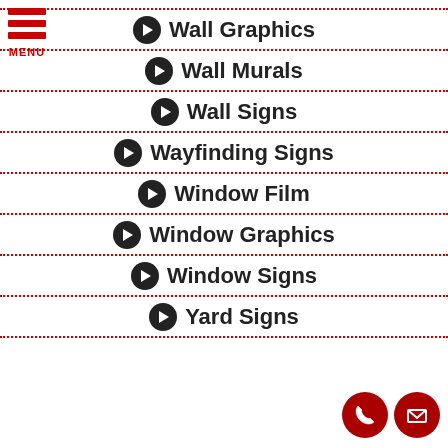[Figure (logo): Red hamburger menu icon with three horizontal red bars and MENU label in red]
Wall Graphics
Wall Murals
Wall Signs
Wayfinding Signs
Window Film
Window Graphics
Window Signs
Yard Signs
[Figure (infographic): Two red circular contact buttons: phone and email icons]